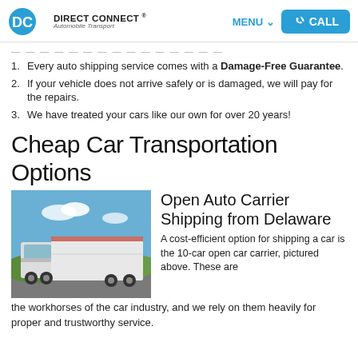Direct Connect Automobile Transport — MENU — CALL
— — — — — — — — — — — — — — —
Every auto shipping service comes with a Damage-Free Guarantee.
If your vehicle does not arrive safely or is damaged, we will pay for the repairs.
We have treated your cars like our own for over 20 years!
Cheap Car Transportation Options
[Figure (photo): Photo of a large white enclosed auto transport truck/trailer on a road with blue sky and hills in background]
Open Auto Carrier Shipping from Delaware
A cost-efficient option for shipping a car is the 10-car open car carrier, pictured above. These are the workhorses of the car industry, and we rely on them heavily for proper and trustworthy service.